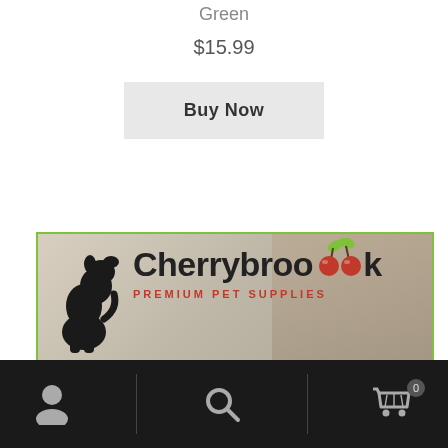Green
$15.99
Buy Now
[Figure (advertisement): Cherrybrook Premium Pet Supplies advertisement banner with dog silhouette logo, cherry graphics, and '20% Off' promotional text in green italic font. Green border around the banner.]
Navigation bar with user profile icon, search icon, and shopping cart icon with badge showing 0